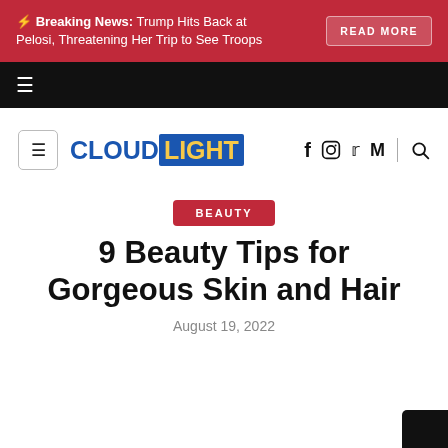⚡ Breaking News: Trump Hits Back at Pelosi, Threatening Her Trip to See Troops  READ MORE
[Figure (screenshot): Black navigation bar with hamburger menu icon]
[Figure (logo): CloudLight logo with hamburger menu icon and social media icons (Facebook, Instagram, Twitter, Medium) and search icon]
BEAUTY
9 Beauty Tips for Gorgeous Skin and Hair
August 19, 2022